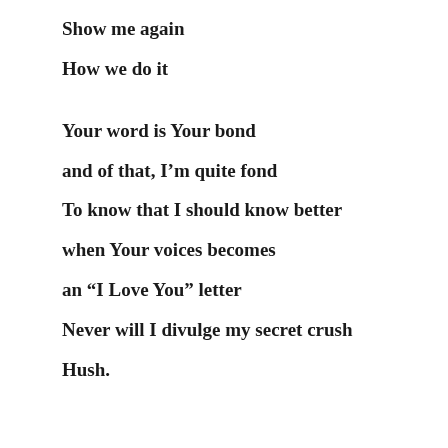Show me again
How we do it
Your word is Your bond
and of that, I’m quite fond
To know that I should know better
when Your voices becomes
an “I Love You” letter
Never will I divulge my secret crush
Hush.